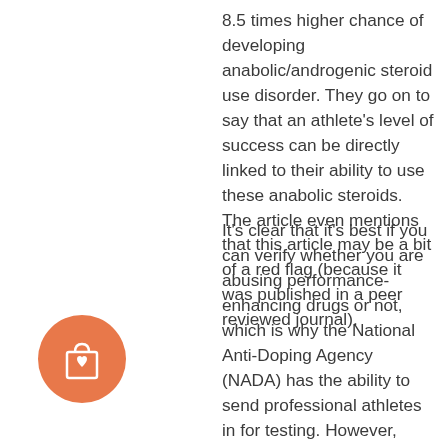8.5 times higher chance of developing anabolic/androgenic steroid use disorder. They go on to say that an athlete's level of success can be directly linked to their ability to use these anabolic steroids. The article even mentions that this article may be a bit of a red flag (because it was published in a peer reviewed journal).
It's clear that it's best if you can verify whether you are abusing performance-enhancing drugs or not, which is why the National Anti-Doping Agency (NADA) has the ability to send professional athletes in for testing. However, NADA requires that athletes have medical proof that they are abusing the anabolic steroid and are not doing so for recreational purposes. So do athletes, or should they? The truth of the matter is that it won't really help you if you simply assume that the anabolic steroids
[Figure (illustration): Orange circle icon containing a shopping bag with a heart symbol]